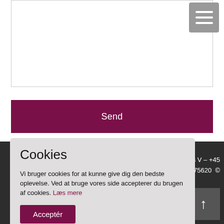[Figure (screenshot): White bordered input/text box area at top of page]
[Figure (screenshot): Hamburger menu icon (three horizontal lines) in grey rounded square, top right]
Send
Aarhus V – +45 775620 ©
Cookies
Vi bruger cookies for at kunne give dig den bedste oplevelse. Ved at bruge vores side accepterer du brugen af cookies. Læs mere
Acceptér